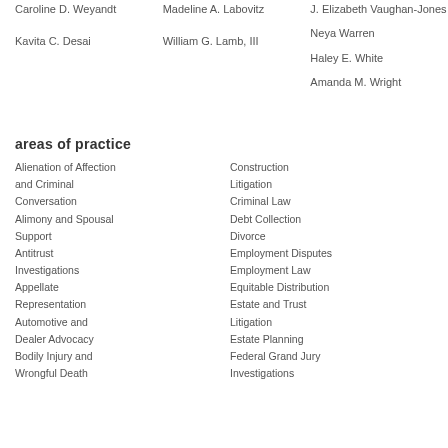Caroline D. Weyandt
Madeline A. Labovitz
J. Elizabeth Vaughan-Jones
Kavita C. Desai
William G. Lamb, III
Neya Warren
Haley E. White
Amanda M. Wright
areas of practice
Alienation of Affection and Criminal Conversation
Construction Litigation
Alimony and Spousal Support
Criminal Law
Antitrust Investigations
Debt Collection
Appellate Representation
Divorce
Automotive and Dealer Advocacy
Employment Disputes
Bodily Injury and Wrongful Death
Employment Law
Equitable Distribution
Estate and Trust Litigation
Estate Planning
Federal Grand Jury Investigations